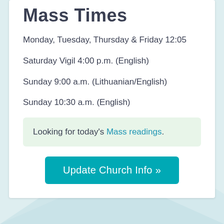Mass Times
Monday, Tuesday, Thursday & Friday 12:05
Saturday Vigil 4:00 p.m. (English)
Sunday 9:00 a.m. (Lithuanian/English)
Sunday 10:30 a.m. (English)
Looking for today's Mass readings.
Update Church Info »